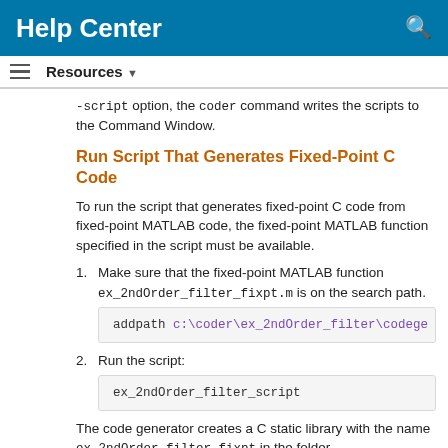Help Center
Resources ▼
-script option, the coder command writes the scripts to the Command Window.
Run Script That Generates Fixed-Point C Code
To run the script that generates fixed-point C code from fixed-point MATLAB code, the fixed-point MATLAB function specified in the script must be available.
1. Make sure that the fixed-point MATLAB function ex_2ndOrder_filter_fixpt.m is on the search path.
addpath c:\coder\ex_2ndOrder_filter\codege
2. Run the script:
ex_2ndOrder_filter_script
The code generator creates a C static library with the name ex_2ndOrder_filter_fixpt in the folder